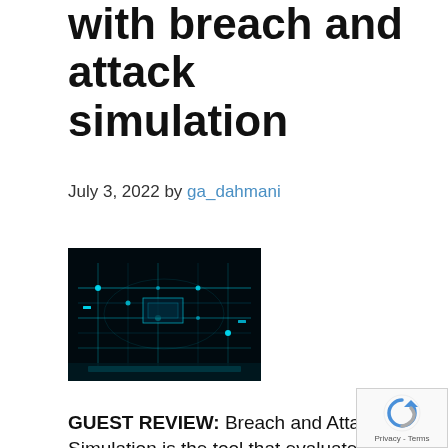with breach and attack simulation
July 3, 2022 by ga_dahmani
[Figure (photo): Dark cybersecurity themed image showing a circuit board or server infrastructure with cyan/teal glowing lights]
GUEST REVIEW: Breach and Attack Simulation is the tool that evaluates the strength of your cybersecurity by simulating attacks against your system. As Security Director Window Snyder says“A single vulnerability is all an attacker needs.” Un you’re being targeted by hackers, how ca you tell if your system has weaknesses that